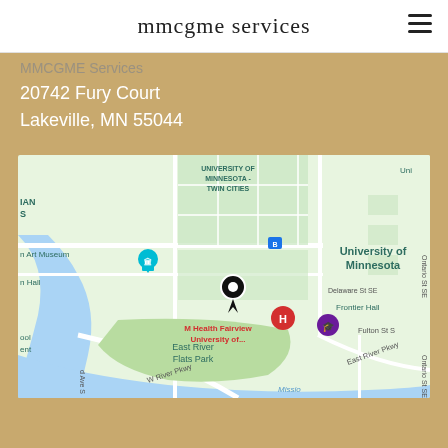mmcgme services
MMCGME Services
20742 Fury Court
Lakeville, MN 55044
[Figure (map): Google Maps view showing University of Minnesota Twin Cities area, with a black location pin marker, M Health Fairview University of... marker, East River Flats Park, W River Pkwy, Frontier Hall, Delaware St SE, Ontario St SE, Fulton St S, and the Mississippi River area.]